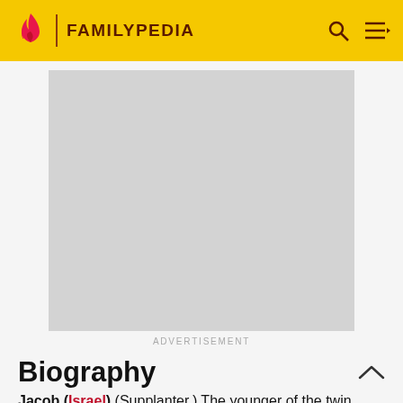FAMILYPEDIA
[Figure (other): Advertisement placeholder – grey rectangle]
ADVERTISEMENT
Biography
Jacob (Israel) (Supplanter.) The younger of the twin sons of Isaac (Gen. 25:24-26). The two brothers were rivals